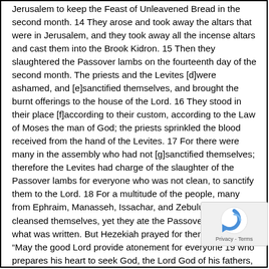Jerusalem to keep the Feast of Unleavened Bread in the second month. 14 They arose and took away the altars that were in Jerusalem, and they took away all the incense altars and cast them into the Brook Kidron. 15 Then they slaughtered the Passover lambs on the fourteenth day of the second month. The priests and the Levites [d]were ashamed, and [e]sanctified themselves, and brought the burnt offerings to the house of the Lord. 16 They stood in their place [f]according to their custom, according to the Law of Moses the man of God; the priests sprinkled the blood received from the hand of the Levites. 17 For there were many in the assembly who had not [g]sanctified themselves; therefore the Levites had charge of the slaughter of the Passover lambs for everyone who was not clean, to sanctify them to the Lord. 18 For a multitude of the people, many from Ephraim, Manasseh, Issachar, and Zebulun, had not cleansed themselves, yet they ate the Passover contrary to what was written. But Hezekiah prayed for them, saying, “May the good Lord provide atonement for everyone 19 who prepares his heart to seek God, the Lord God of his fathers, though he is not cleansed according to the purification of the sanctuary.” 20
[Figure (other): reCAPTCHA logo overlay in bottom right corner with Privacy - Terms text]